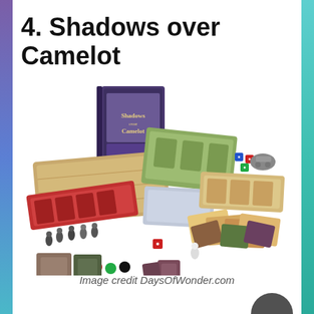4. Shadows over Camelot
[Figure (photo): Photo of the Shadows over Camelot board game components spread out, showing the game box, boards, cards, miniature figures, dice, and tokens on a white background.]
Image credit DaysOfWonder.com